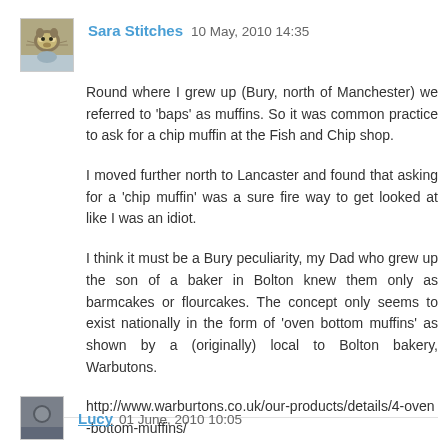Sara Stitches  10 May, 2010 14:35
Round where I grew up (Bury, north of Manchester) we referred to 'baps' as muffins. So it was common practice to ask for a chip muffin at the Fish and Chip shop.
I moved further north to Lancaster and found that asking for a 'chip muffin' was a sure fire way to get looked at like I was an idiot.
I think it must be a Bury peculiarity, my Dad who grew up the son of a baker in Bolton knew them only as barmcakes or flourcakes. The concept only seems to exist nationally in the form of 'oven bottom muffins' as shown by a (originally) local to Bolton bakery, Warbutons.
http://www.warburtons.co.uk/our-products/details/4-oven-bottom-muffins/
Reply
Lucy  01 June, 2010 10:05